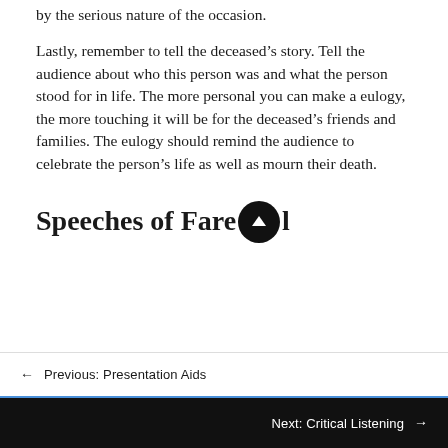by the serious nature of the occasion.
Lastly, remember to tell the deceased’s story. Tell the audience about who this person was and what the person stood for in life. The more personal you can make a eulogy, the more touching it will be for the deceased’s friends and families. The eulogy should remind the audience to celebrate the person’s life as well as mourn their death.
Speeches of Farewell
← Previous: Presentation Aids
Next: Critical Listening →